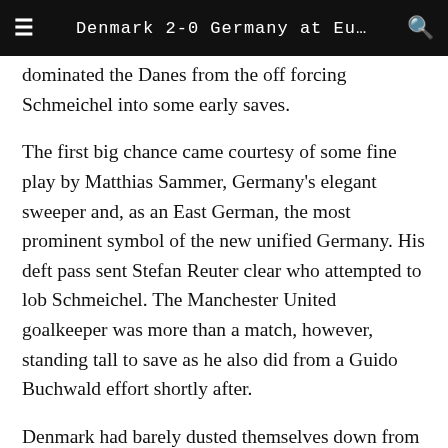Denmark 2-0 Germany at Eu…
dominated the Danes from the off forcing Schmeichel into some early saves.
The first big chance came courtesy of some fine play by Matthias Sammer, Germany's elegant sweeper and, as an East German, the most prominent symbol of the new unified Germany. His deft pass sent Stefan Reuter clear who attempted to lob Schmeichel. The Manchester United goalkeeper was more than a match, however, standing tall to save as he also did from a Guido Buchwald effort shortly after.
Denmark had barely dusted themselves down from these early German attacks when they themselves scored against the run of play in the